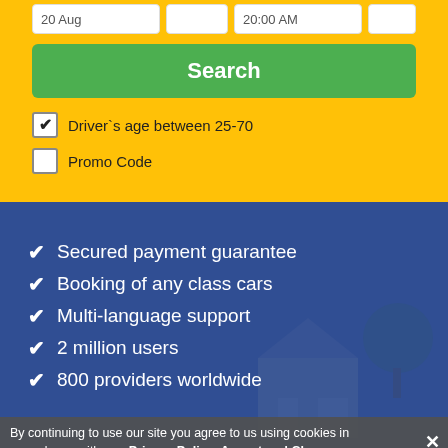[Figure (screenshot): Input fields row showing date/time fields partially visible at top]
Search
Driver`s age between 25-70
Promo Code
Secured payment guarantee
Booking of any class cars
Multi-language support
2 million users
800 providers worldwide
By continuing to use our site you agree to us using cookies in accordance with our Privacy Policy  Accept and Close